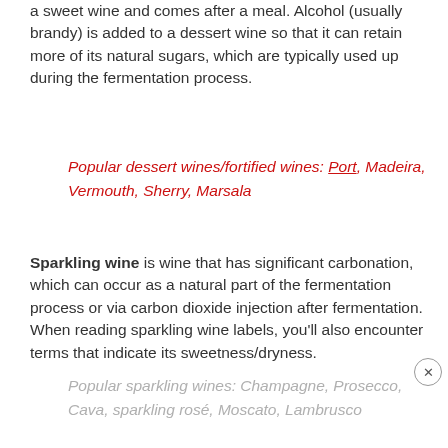a sweet wine and comes after a meal. Alcohol (usually brandy) is added to a dessert wine so that it can retain more of its natural sugars, which are typically used up during the fermentation process.
Popular dessert wines/fortified wines: Port, Madeira, Vermouth, Sherry, Marsala
Sparkling wine is wine that has significant carbonation, which can occur as a natural part of the fermentation process or via carbon dioxide injection after fermentation. When reading sparkling wine labels, you'll also encounter terms that indicate its sweetness/dryness.
Popular sparkling wines: Champagne, Prosecco, Cava, sparkling rosé, Moscato, Lambrusco